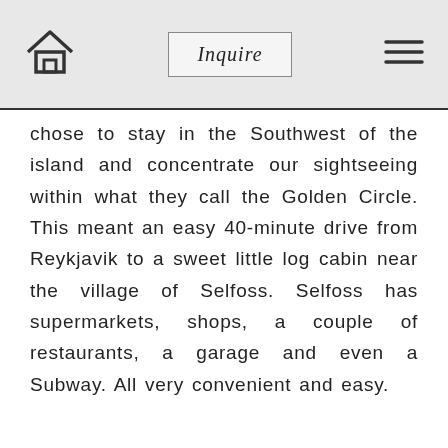Inquire
chose to stay in the Southwest of the island and concentrate our sightseeing within what they call the Golden Circle. This meant an easy 40-minute drive from Reykjavik to a sweet little log cabin near the village of Selfoss. Selfoss has supermarkets, shops, a couple of restaurants, a garage and even a Subway. All very convenient and easy.
As you can see the cabin was in a beautiful location with amazing views.